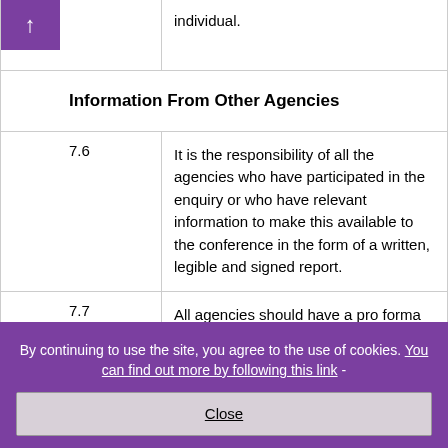|  |  |
| --- | --- |
|  | individual. |
| Information From Other Agencies |  |
| 7.6 | It is the responsibility of all the agencies who have participated in the enquiry or who have relevant information to make this available to the conference in the form of a written, legible and signed report. |
| 7.7 | All agencies should have a pro forma for reports |
By continuing to use the site, you agree to the use of cookies. You can find out more by following this link -
Close